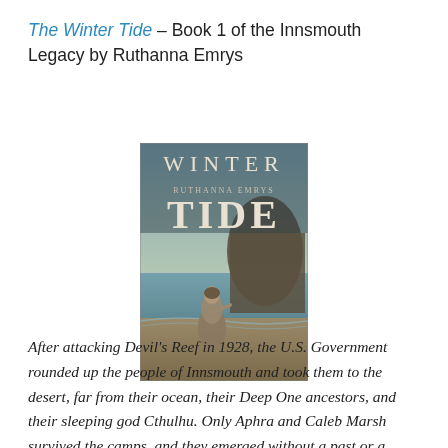The Winter Tide – Book 1 of the Innsmouth Legacy by Ruthanna Emrys
[Figure (photo): Book cover of 'Winter Tide' by Ruthanna Emrys. Shows a figure from behind standing on a beach with a large rocky cliff/sea stack in the background. The cover has a muted teal/brown color palette. Text reads 'WINTER' at top, then 'RUTHANNA EMRYS', then large 'TIDE'.]
After attacking Devil's Reef in 1928, the U.S. Government rounded up the people of Innsmouth and took them to the desert, far from their ocean, their Deep One ancestors, and their sleeping god Cthulhu. Only Aphra and Caleb Marsh survived the camps, and they emerged without a past or a future. The government that stole Aphra's life